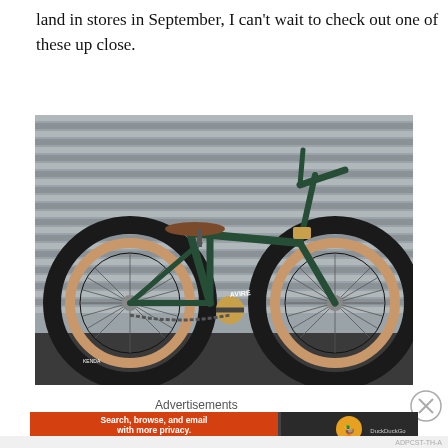land in stores in September, I can't wait to check out one of these up close.
[Figure (photo): A dark green BMX bike with tan/gold rims and brown saddle, photographed against corrugated metal garage door background.]
Advertisements
[Figure (screenshot): DuckDuckGo advertisement banner: 'Search, browse, and email with more privacy. All in One Free App' with DuckDuckGo duck logo on orange and dark background.]